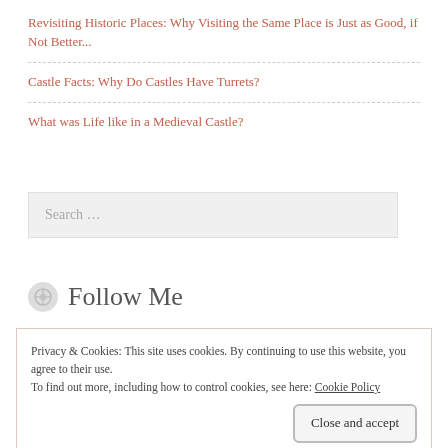Revisiting Historic Places: Why Visiting the Same Place is Just as Good, if Not Better...
Castle Facts: Why Do Castles Have Turrets?
What was Life like in a Medieval Castle?
Search ...
Follow Me
Privacy & Cookies: This site uses cookies. By continuing to use this website, you agree to their use.
To find out more, including how to control cookies, see here: Cookie Policy
Close and accept